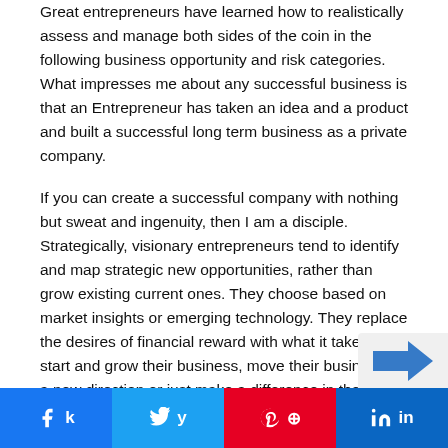Great entrepreneurs have learned how to realistically assess and manage both sides of the coin in the following business opportunity and risk categories. What impresses me about any successful business is that an Entrepreneur has taken an idea and a product and built a successful long term business as a private company.
If you can create a successful company with nothing but sweat and ingenuity, then I am a disciple. Strategically, visionary entrepreneurs tend to identify and map strategic new opportunities, rather than grow existing current ones. They choose based on market insights or emerging technology. They replace the desires of financial reward with what it takes to start and grow their business, move their business in a new direction or just make a difference in their respective industries...
Share buttons: Facebook, Twitter, Pinterest, LinkedIn